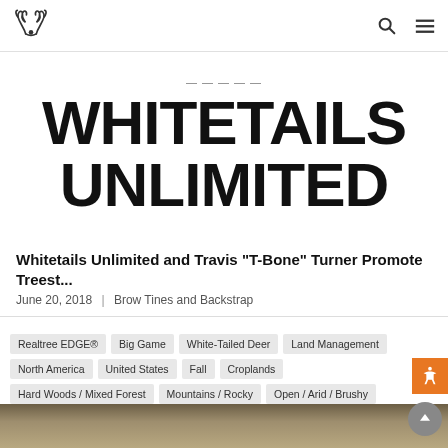Realtree logo navigation bar with search and menu icons
[Figure (photo): Whitetails Unlimited magazine logo/masthead showing large bold text 'WHITETAILS UNLIMITED' in black on white background]
Whitetails Unlimited and Travis "T-Bone" Turner Promote Treest...
June 20, 2018  |  Brow Tines and Backstrap
Realtree EDGE®
Big Game
White-Tailed Deer
Land Management
North America
United States
Fall
Croplands
Hard Woods / Mixed Forest
Mountains / Rocky
Open / Arid / Brushy
Pine / Coniferous
River Bottom
Wetlands
Shotgun
Hand Gun
Muzzleloader
Rifle
Bowhunting
Crossbow
Traditional Bow
[Figure (photo): Partial view of deer antlers photo at bottom of page]